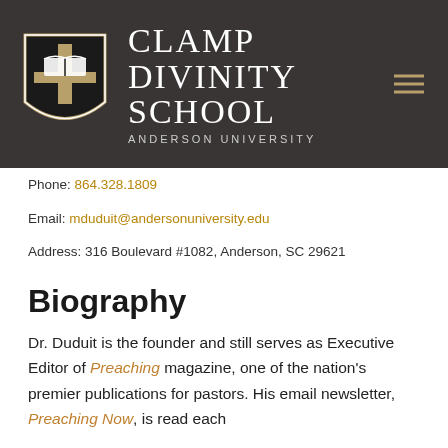[Figure (logo): Clamp Divinity School at Anderson University logo with shield emblem on dark background header]
Phone: 864.328.1809
Email: mduduit@andersonuniversity.edu
Address: 316 Boulevard #1082, Anderson, SC 29621
Biography
Dr. Duduit is the founder and still serves as Executive Editor of Preaching magazine, one of the nation's premier publications for pastors. His email newsletter, Preaching Now, is read each